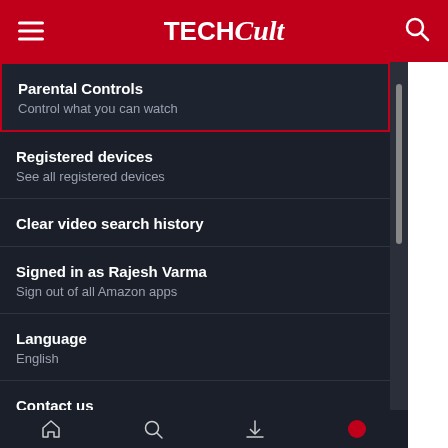TECHCult
Parental Controls
Control what you can watch
Registered devices
See all registered devices
Clear video search history
Signed in as Rajesh Varma
Sign out of all Amazon apps
Language
English
Contact us
About & Legal